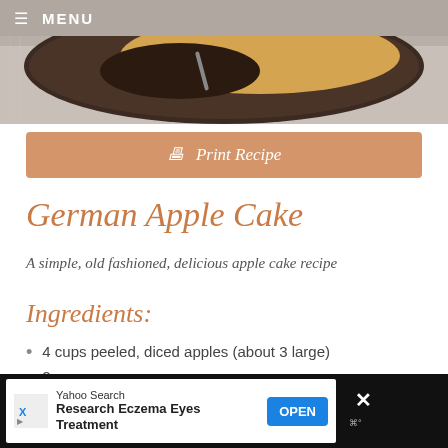☰ MENU
[Figure (photo): Close-up of a dark baking dish with apple cake and a fork, on a linen surface]
🖨 Print Recipe
German Apple Cake
A simple, old fashioned, delicious apple cake recipe
Ingredients:
4 cups peeled, diced apples (about 3 large)
2 cups sugar
1 cup canola oil
2 eggs
[Figure (screenshot): Yahoo Search advertisement: Research Eczema Eyes Treatment, with OPEN button]